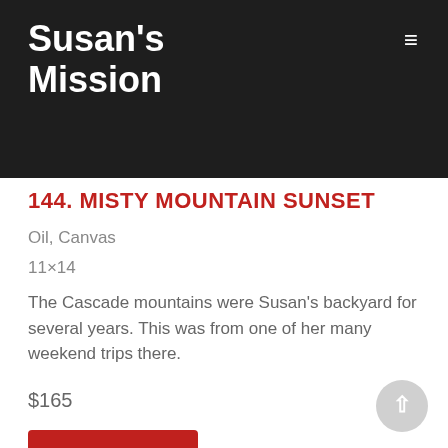Susan's Mission
144. MISTY MOUNTAIN SUNSET
Oil, Canvas
11×14
The Cascade mountains were Susan's backyard for several years. This was from one of her many weekend trips there.
$165
Submit Bid